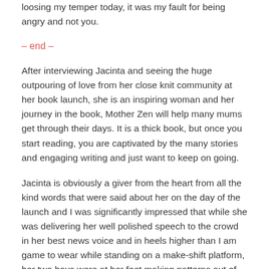loosing my temper today, it was my fault for being angry and not you.
– end –
After interviewing Jacinta and seeing the huge outpouring of love from her close knit community at her book launch, she is an inspiring woman and her journey in the book, Mother Zen will help many mums get through their days. It is a thick book, but once you start reading, you are captivated by the many stories and engaging writing and just want to keep on going.
Jacinta is obviously a giver from the heart from all the kind words that were said about her on the day of the launch and I was significantly impressed that while she was delivering her well polished speech to the crowd in her best news voice and in heels higher than I am game to wear while standing on a make-shift platform, her two boys were at her feet making patterns out of the bar coasters, poking their fingers into her shoes.